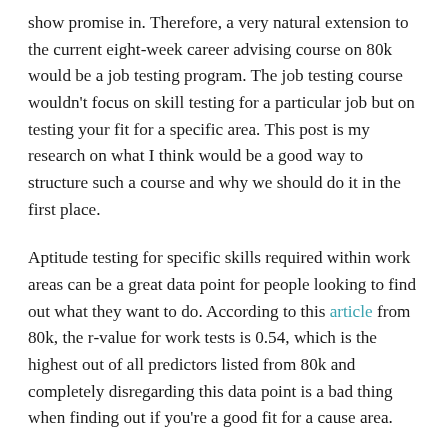show promise in. Therefore, a very natural extension to the current eight-week career advising course on 80k would be a job testing program. The job testing course wouldn't focus on skill testing for a particular job but on testing your fit for a specific area. This post is my research on what I think would be a good way to structure such a course and why we should do it in the first place.
Aptitude testing for specific skills required within work areas can be a great data point for people looking to find out what they want to do. According to this article from 80k, the r-value for work tests is 0.54, which is the highest out of all predictors listed from 80k and completely disregarding this data point is a bad thing when finding out if you're a good fit for a cause area.